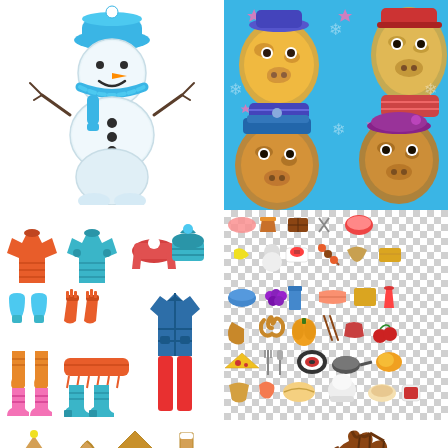[Figure (illustration): Cartoon snowman wearing a blue knit hat and blue scarf, with stick arms, carrot nose, button eyes and mouth, on white background]
[Figure (illustration): Seamless pattern of cartoon giraffes and horses in Christmas/winter sweaters on a blue background with pink stars]
[Figure (illustration): Set of winter clothing icons: orange and teal knitted sweaters, red/pink winter hats, mittens in teal and red, orange socks, pink boots, teal boots, orange scarf, and a teal puffer jacket with red ski pants]
[Figure (illustration): Collection of food icons on checkered transparent background: various meats, sushi, pretzel, pizza, vegetables, fruits, cooking utensils, and other food items]
[Figure (illustration): Four gingerbread cookies shaped as Christmas tree, crescent moon, gingerbread house, and boot]
[Figure (illustration): Brown baseball glove/mitt illustration]